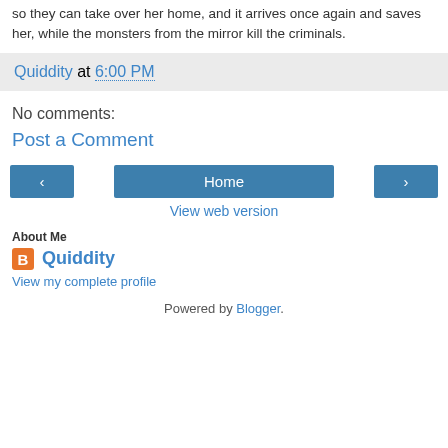so they can take over her home, and it arrives once again and saves her, while the monsters from the mirror kill the criminals.
Quiddity at 6:00 PM
No comments:
Post a Comment
[Figure (other): Navigation buttons: left arrow, Home, right arrow]
View web version
About Me
Quiddity
View my complete profile
Powered by Blogger.